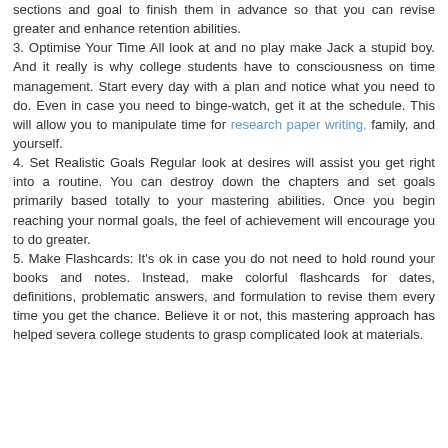sections and goal to finish them in advance so that you can revise greater and enhance retention abilities. 3. Optimise Your Time All look at and no play make Jack a stupid boy. And it really is why college students have to consciousness on time management. Start every day with a plan and notice what you need to do. Even in case you need to binge-watch, get it at the schedule. This will allow you to manipulate time for research paper writing, family, and yourself. 4. Set Realistic Goals Regular look at desires will assist you get right into a routine. You can destroy down the chapters and set goals primarily based totally to your mastering abilities. Once you begin reaching your normal goals, the feel of achievement will encourage you to do greater. 5. Make Flashcards: It's ok in case you do not need to hold round your books and notes. Instead, make colorful flashcards for dates, definitions, problematic answers, and formulation to revise them every time you get the chance. Believe it or not, this mastering approach has helped severa college students to grasp complicated look at materials.